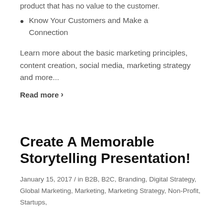product that has no value to the customer.
Know Your Customers and Make a Connection
Learn more about the basic marketing principles, content creation, social media, marketing strategy and more...
Read more ›
Create A Memorable Storytelling Presentation!
January 15, 2017 / in B2B, B2C, Branding, Digital Strategy, Global Marketing, Marketing, Marketing Strategy, Non-Profit, Startups,